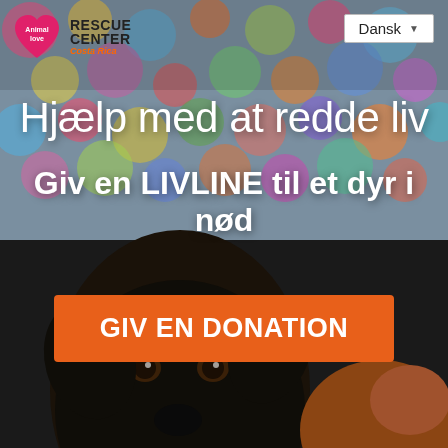[Figure (photo): Background photo of colorful blurred dots/bokeh in pastel colors (pink, blue, yellow, orange, green) with two dogs in the foreground — a black and tan dog looking forward center, and a brown dog partially visible at right bottom]
[Figure (logo): Animal love Rescue Center Costa Rica logo — green heart with 'Animal love' text and 'RESCUE CENTER Costa Rica' in black/orange text]
Dansk ▼
Hjælp med at redde liv
Giv en LIVLINE til et dyr i nød
GIV EN DONATION